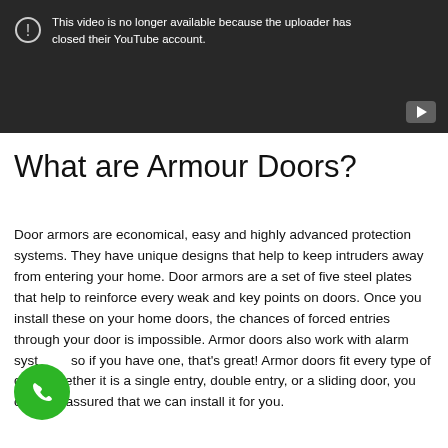[Figure (screenshot): YouTube video placeholder with dark background showing error message: 'This video is no longer available because the uploader has closed their YouTube account.' with a warning icon and YouTube logo button.]
What are Armour Doors?
Door armors are economical, easy and highly advanced protection systems. They have unique designs that help to keep intruders away from entering your home. Door armors are a set of five steel plates that help to reinforce every weak and key points on doors. Once you install these on your home doors, the chances of forced entries through your door is impossible. Armor doors also work with alarm systems, so if you have one, that's great! Armor doors fit every type of door, whether it is a single entry, double entry, or a sliding door, you can rest assured that we can install it for you.